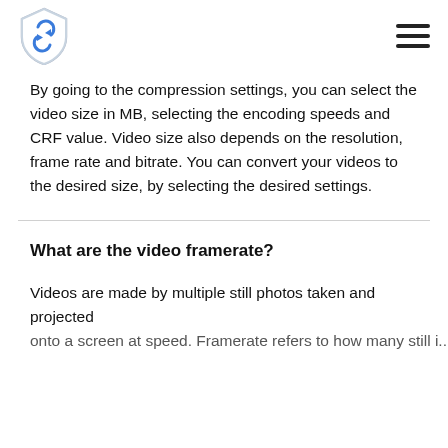[Logo: shield with refresh icon] [Hamburger menu]
By going to the compression settings, you can select the video size in MB, selecting the encoding speeds and CRF value. Video size also depends on the resolution, frame rate and bitrate. You can convert your videos to the desired size, by selecting the desired settings.
What are the video framerate?
Videos are made by multiple still photos taken and projected ...